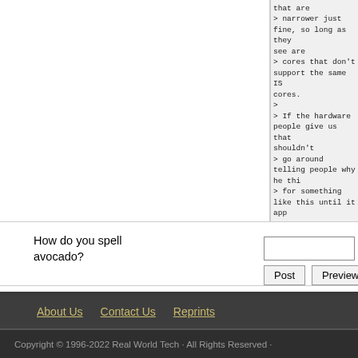that are
> narrower just fine, so long as they see are
> cores that don't support the same IS cores.
>
> If the hardware people give us that shouldn't
> go around telling people why he thi
> for something like this until it app
How do you spell avocado?
Post  Preview
About Us   Contact Us   Reprints
Copyright © 1996-2022 Real World Tech · All Rights Reserved ·